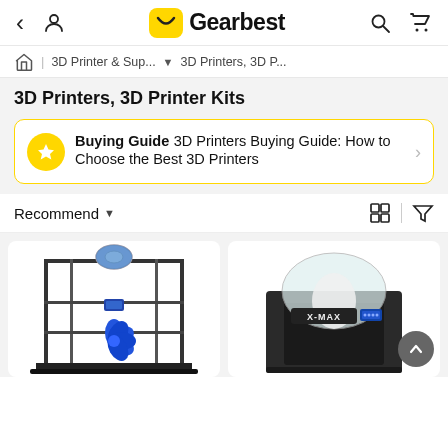Gearbest navigation bar with back, user, logo, search, and cart icons
3D Printer & Sup... ▾ 3D Printers, 3D P...
3D Printers, 3D Printer Kits
Buying Guide  3D Printers Buying Guide: How to Choose the Best 3D Printers
Recommend ▾
[Figure (photo): Open-frame 3D printer with blue filament spool on top and a blue flower-like print in progress]
[Figure (photo): X-MAX enclosed 3D printer with transparent dome top and blue display, showing a white object printing inside]